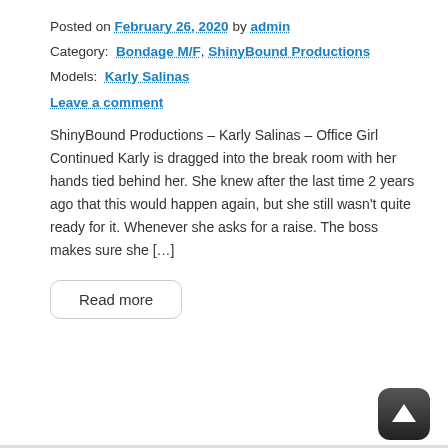Posted on February 26, 2020 by admin
Category: Bondage M/F, ShinyBound Productions
Models: Karly Salinas
Leave a comment
ShinyBound Productions – Karly Salinas – Office Girl Continued Karly is dragged into the break room with her hands tied behind her. She knew after the last time 2 years ago that this would happen again, but she still wasn't quite ready for it. Whenever she asks for a raise. The boss makes sure she […]
Read more
[Figure (other): Scroll to top button — dark rounded square with white upward arrow]